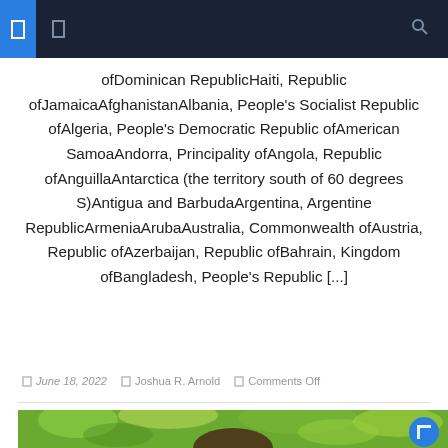Navigation bar with icons
ofDominican RepublicHaiti, Republic ofJamaicaAfghanistanAlbania, People's Socialist Republic ofAlgeria, People's Democratic Republic ofAmerican SamoaAndorra, Principality ofAngola, Republic ofAnguillaAntarctica (the territory south of 60 degrees S)Antigua and BarbudaArgentina, Argentine RepublicArmeniaArubaAustralia, Commonwealth ofAustria, Republic ofAzerbaijan, Republic ofBahrain, Kingdom ofBangladesh, People's Republic [...]
June 18, 2022  Joshua R. Arnold  Comments Off
[Figure (photo): Person with dark hair photographed outdoors with green foliage background]